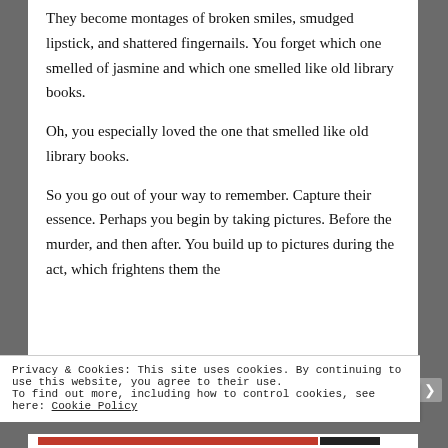They become montages of broken smiles, smudged lipstick, and shattered fingernails. You forget which one smelled of jasmine and which one smelled like old library books.
Oh, you especially loved the one that smelled like old library books.
So you go out of your way to remember. Capture their essence. Perhaps you begin by taking pictures. Before the murder, and then after. You build up to pictures during the act, which frightens them the
Privacy & Cookies: This site uses cookies. By continuing to use this website, you agree to their use.
To find out more, including how to control cookies, see here: Cookie Policy
Close and accept